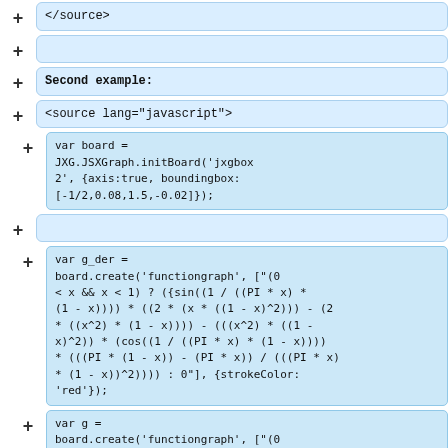+ </source>
+
+ Second example:
+ <source lang="javascript">
+ var board = JXG.JSXGraph.initBoard('jxgbox2', {axis:true, boundingbox: [-1/2,0.08,1.5,-0.02]});
+
+ var g_der = board.create('functiongraph', ["(0 < x && x < 1) ? ({sin((1 / ((PI * x) * (1 - x)))) * ((2 * (x * ((1 - x)^2))) - (2 * ((x^2) * (1 - x)))) - (((x^2) * ((1 - x)^2)) * (cos((1 / ((PI * x) * (1 - x)))) * (((PI * (1 - x)) - (PI * x)) / (((PI * x) * (1 - x))^2)))) : 0"], {strokeColor: 'red'});
+ var g = board.create('functiongraph', ["(0